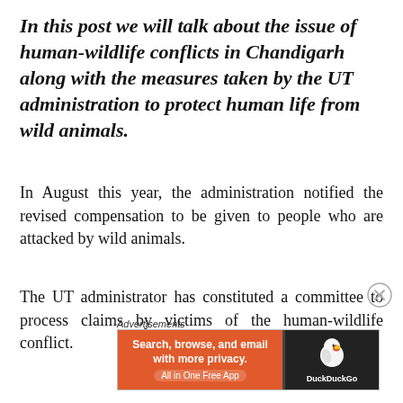In this post we will talk about the issue of human-wildlife conflicts in Chandigarh along with the measures taken by the UT administration to protect human life from wild animals.
In August this year, the administration notified the revised compensation to be given to people who are attacked by wild animals.
The UT administrator has constituted a committee to process claims by victims of the human-wildlife conflict.
[Figure (other): Advertisement banner for DuckDuckGo app: 'Search, browse, and email with more privacy. All in One Free App' on orange background with DuckDuckGo logo on dark background.]